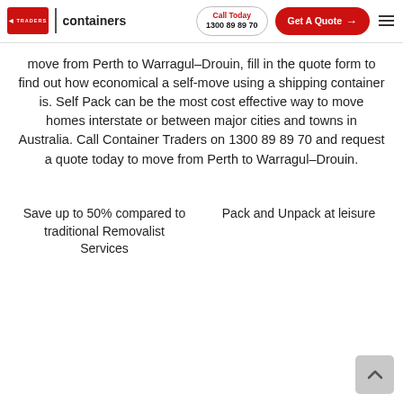Container Traders | containers — Call Today 1300 89 89 70 | Get A Quote →
move from Perth to Warragul–Drouin, fill in the quote form to find out how economical a self-move using a shipping container is. Self Pack can be the most cost effective way to move homes interstate or between major cities and towns in Australia. Call Container Traders on 1300 89 89 70 and request a quote today to move from Perth to Warragul–Drouin.
Save up to 50% compared to traditional Removalist Services
Pack and Unpack at leisure